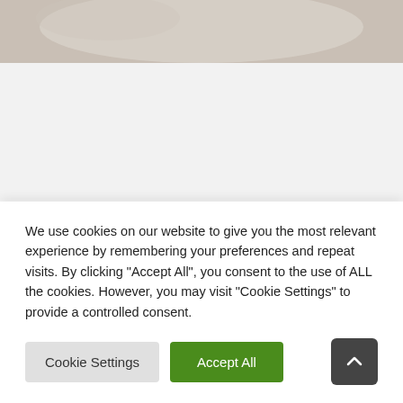[Figure (photo): Close-up photo of a textured fabric or textile material in light beige/gray tones, partially visible at the top of the page.]
ALL OF OUR GIFT SETS ARE
We use cookies on our website to give you the most relevant experience by remembering your preferences and repeat visits. By clicking "Accept All", you consent to the use of ALL the cookies. However, you may visit "Cookie Settings" to provide a controlled consent.